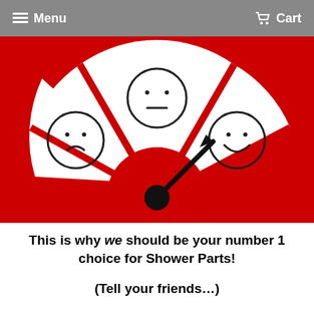Menu  Cart
[Figure (infographic): Satisfaction gauge on red background with three face emoji sections: sad face on left (white wedge), neutral face on top center (white wedge), happy face on right (white wedge). A black arrow pointer needle points toward the happy/smiley face on the right. Large red semicircle hub in center.]
This is why we should be your number 1 choice for Shower Parts!
(Tell your friends...)